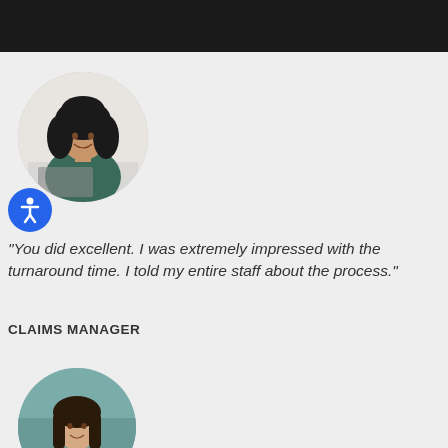[Figure (photo): Black navigation bar at top of page]
[Figure (photo): Circular profile photo of a smiling woman with curly dark hair, seated at a desk with a laptop]
[Figure (illustration): Blue circular accessibility icon button with a human figure symbol]
"You did excellent. I was extremely impressed with the turnaround time. I told my entire staff about the process."
CLAIMS MANAGER
[Figure (photo): Circular profile photo of a woman with long dark hair wearing a white blazer, seated against a teal background]